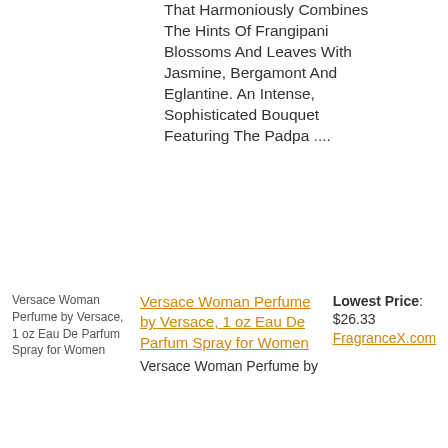That Harmoniously Combines The Hints Of Frangipani Blossoms And Leaves With Jasmine, Bergamont And Eglantine. An Intense, Sophisticated Bouquet Featuring The Padpa ....
[Figure (other): Versace Woman Perfume by Versace, 1 oz Eau De Parfum Spray for Women product image placeholder]
Versace Woman Perfume by Versace, 1 oz Eau De Parfum Spray for Women (link)
Versace Woman Perfume by
Lowest Price: $26.33 FragranceX.com